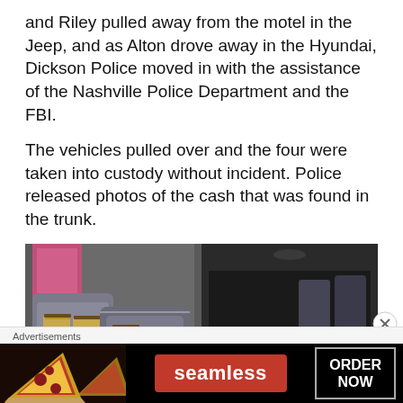and Riley pulled away from the motel in the Jeep, and as Alton drove away in the Hyundai, Dickson Police moved in with the assistance of the Nashville Police Department and the FBI.
The vehicles pulled over and the four were taken into custody without incident. Police released photos of the cash that was found in the trunk.
[Figure (photo): Two photos side by side showing cash found in a vehicle trunk. Left photo shows duffel bags with stacks of cash. Right photo shows many stacks of bills laid out in a dark trunk space.]
Advertisements
[Figure (photo): Seamless advertisement banner with pizza image on left, Seamless logo in red center, and ORDER NOW button on right against black background.]